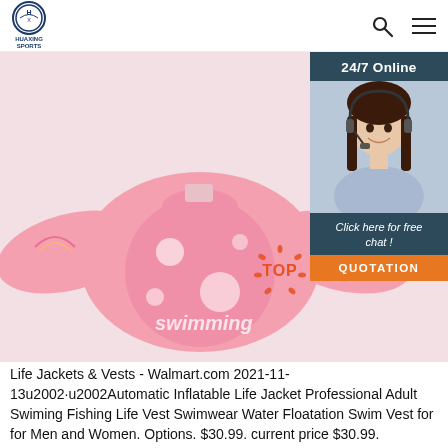HUAXING SPORTS
[Figure (photo): Pink children's swimming life jacket / puddle jumper vest with rainbow and character print, arm floaties extended, on white background. Overlaid with a '24/7 Online' customer service chat widget showing a woman with headset, and a 'Click here for free chat! QUOTATION' button. A decorative orange/red 'TOP' badge appears in the lower right area.]
Life Jackets & Vests - Walmart.com 2021-11-13u2002·u2002Automatic Inflatable Life Jacket Professional Adult Swiming Fishing Life Vest Swimwear Water Floatation Swim Vest for for Men and Women. Options. $30.99. current price $30.99. Automatic Inflatable Life Jacket Professional Adult Swiming Fishing Life Vest